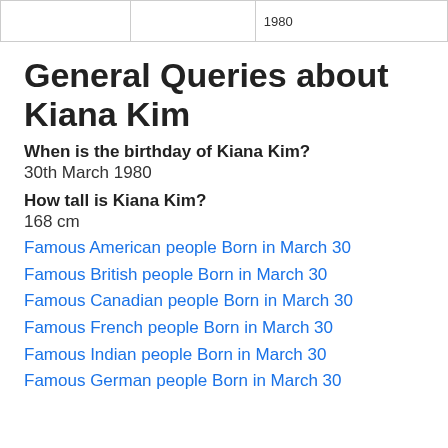|  |  | 1980 |
| --- | --- | --- |
|  |  | 1980 |
General Queries about Kiana Kim
When is the birthday of Kiana Kim?
30th March 1980
How tall is Kiana Kim?
168 cm
Famous American people Born in March 30
Famous British people Born in March 30
Famous Canadian people Born in March 30
Famous French people Born in March 30
Famous Indian people Born in March 30
Famous German people Born in March 30